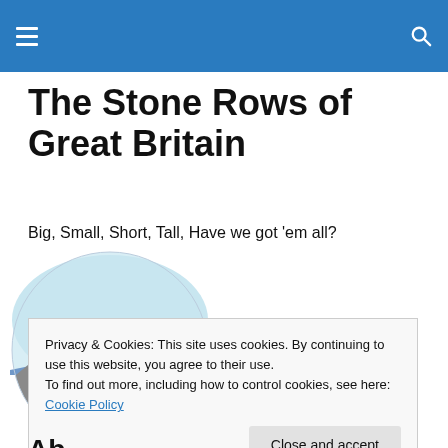The Stone Rows of Great Britain
Big, Small, Short, Tall, Have we got 'em all?
[Figure (illustration): Circular illustrated logo showing a mountain/moorland silhouette in grey with a blue/purple sky, and small dark standing stones in the foreground]
Privacy & Cookies: This site uses cookies. By continuing to use this website, you agree to their use.
To find out more, including how to control cookies, see here: Cookie Policy
Close and accept
Ab...